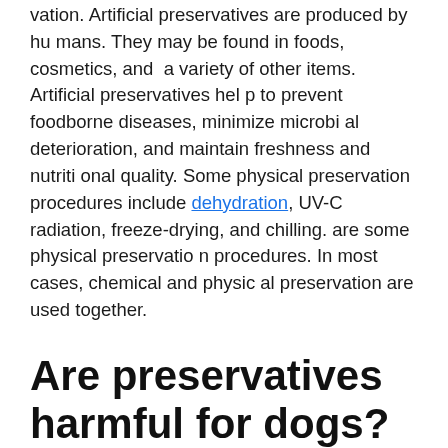vation. Artificial preservatives are produced by humans. They may be found in foods, cosmetics, and a variety of other items. Artificial preservatives help to prevent foodborne diseases, minimize microbial deterioration, and maintain freshness and nutritional quality. Some physical preservation procedures include dehydration, UV-C radiation, freeze-drying, and chilling. are some physical preservation procedures. In most cases, chemical and physical preservation are used together.
Are preservatives harmful for dogs?
Food preservatives work by suppressing the